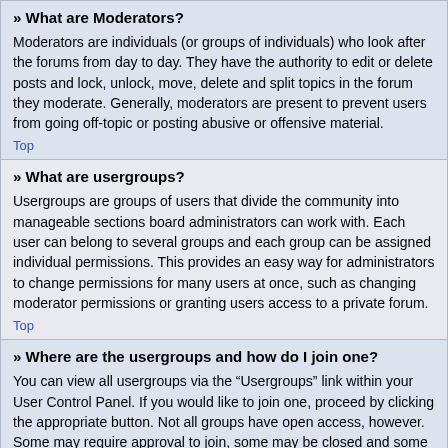» What are Moderators?
Moderators are individuals (or groups of individuals) who look after the forums from day to day. They have the authority to edit or delete posts and lock, unlock, move, delete and split topics in the forum they moderate. Generally, moderators are present to prevent users from going off-topic or posting abusive or offensive material.
Top
» What are usergroups?
Usergroups are groups of users that divide the community into manageable sections board administrators can work with. Each user can belong to several groups and each group can be assigned individual permissions. This provides an easy way for administrators to change permissions for many users at once, such as changing moderator permissions or granting users access to a private forum.
Top
» Where are the usergroups and how do I join one?
You can view all usergroups via the "Usergroups" link within your User Control Panel. If you would like to join one, proceed by clicking the appropriate button. Not all groups have open access, however. Some may require approval to join, some may be closed and some may even have hidden memberships. If the group is open, you can join it by clicking the appropriate button. If a group requires approval to join you may request to join by clicking the